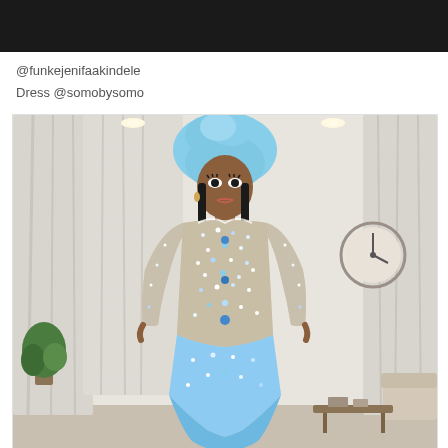[Figure (photo): Top portion of a photograph showing a dark/black background strip at the top of the page]
@funkejenifaakindele
Dress @somobysomo
[Figure (photo): A woman wearing a blue gele (head wrap) and a sparkly crystal/rhinestone mermaid-style dress with blue accents, posing in an elegant interior room setting with white curtains and a round wall clock in the background.]